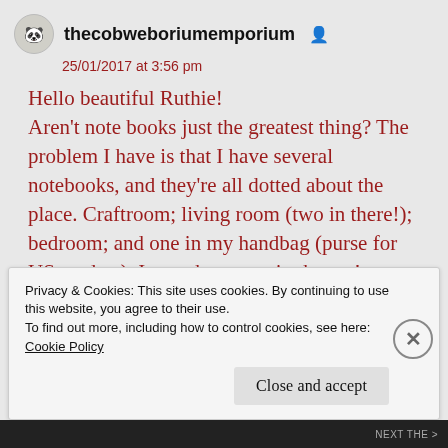thecobweboriumemporium
25/01/2017 at 3:56 pm
Hello beautiful Ruthie!
Aren't note books just the greatest thing? The problem I have is that I have several notebooks, and they're all dotted about the place. Craftroom; living room (two in there!); bedroom; and one in my handbag (purse for US readers). I even have one in the car!
Privacy & Cookies: This site uses cookies. By continuing to use this website, you agree to their use.
To find out more, including how to control cookies, see here: Cookie Policy